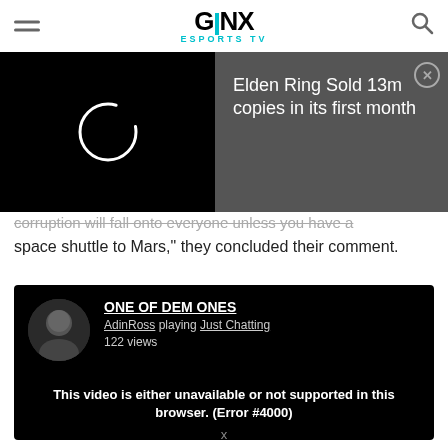GINX ESPORTS TV
[Figure (screenshot): Video player loading spinner on black background with gray advertisement overlay showing 'Elden Ring Sold 13m copies in its first month' with close button]
corruption will fall onto everyone unless you have a space shuttle to Mars," they concluded their comment.
[Figure (screenshot): Twitch embedded stream card on black background. Channel: ONE OF DEM ONES. AdinRoss playing Just Chatting. 122 views. Error message: This video is either unavailable or not supported in this browser. (Error #4000)]
x